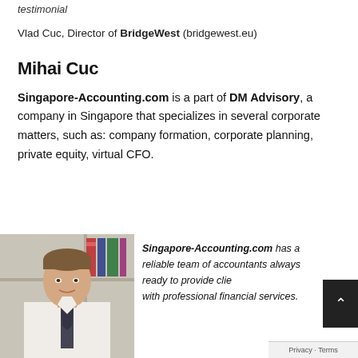testimonial
Vlad Cuc, Director of BridgeWest (bridgewest.eu)
Mihai Cuc
Singapore-Accounting.com is a part of DM Advisory, a company in Singapore that specializes in several corporate matters, such as: company formation, corporate planning, private equity, virtual CFO.
[Figure (photo): Portrait photo of a man in a white shirt and dark tie, standing in front of a bookshelf]
Singapore-Accounting.com has a reliable team of accountants always ready to provide clients with professional financial services.